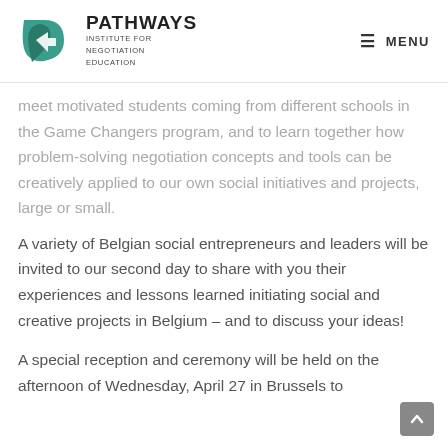PATHWAYS INSTITUTE FOR NEGOTIATION EDUCATION | MENU
meet motivated students coming from different schools in the Game Changers program, and to learn together how problem-solving negotiation concepts and tools can be creatively applied to our own social initiatives and projects, large or small.
A variety of Belgian social entrepreneurs and leaders will be invited to our second day to share with you their experiences and lessons learned initiating social and creative projects in Belgium – and to discuss your ideas!
A special reception and ceremony will be held on the afternoon of Wednesday, April 27 in Brussels to